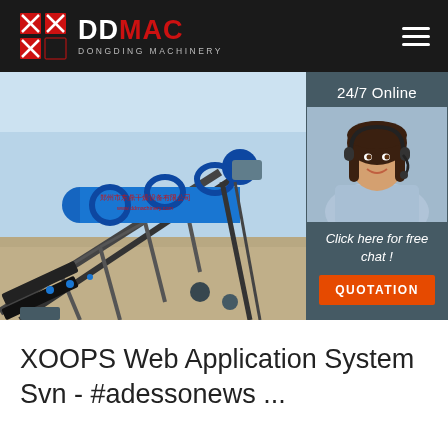DDMAC DONGDING MACHINERY
[Figure (photo): Industrial rotary drum dryer machine on a construction site, large blue cylindrical drum on an inclined conveyor structure, outdoors with hazy sky background. Chinese text visible on the drum body.]
[Figure (photo): Customer service representative woman wearing headset, smiling, with '24/7 Online' label above and 'Click here for free chat!' text below, plus an orange QUOTATION button.]
XOOPS Web Application System Svn - #adessonews ...